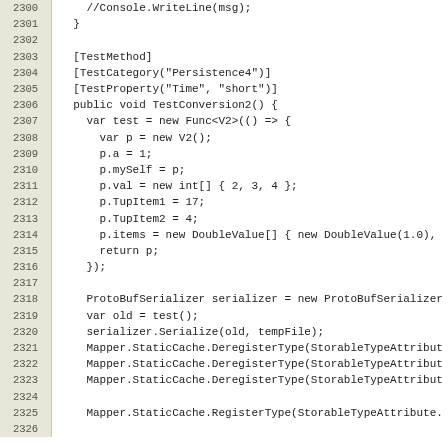[Figure (screenshot): Source code listing in C# showing lines 2300-2326. Contains a test method TestConversion2 with ProtoBufSerializer usage and Mapper.StaticCache operations.]